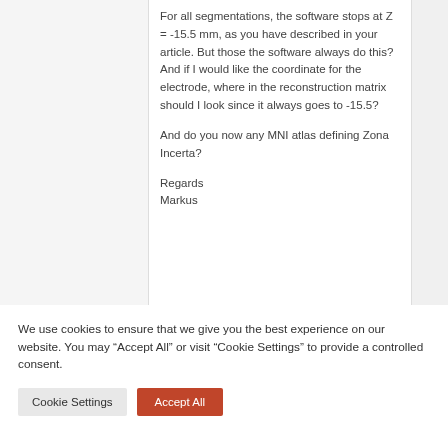For all segmentations, the software stops at Z = -15.5 mm, as you have described in your article. But those the software always do this? And if I would like the coordinate for the electrode, where in the reconstruction matrix should I look since it always goes to -15.5?

And do you now any MNI atlas defining Zona Incerta?

Regards
Markus
We use cookies to ensure that we give you the best experience on our website. You may “Accept All” or visit “Cookie Settings” to provide a controlled consent.